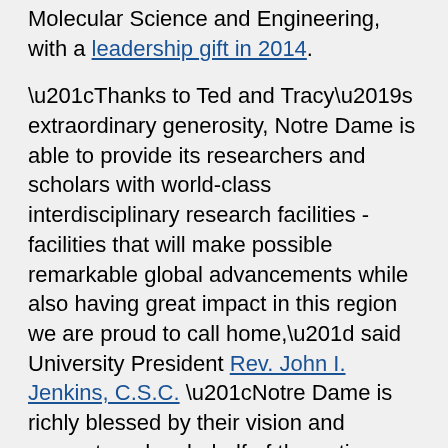Molecular Science and Engineering, with a leadership gift in 2014.
“Thanks to Ted and Tracy’s extraordinary generosity, Notre Dame is able to provide its researchers and scholars with world-class interdisciplinary research facilities - facilities that will make possible remarkable global advancements while also having great impact in this region we are proud to call home,” said University President Rev. John I. Jenkins, C.S.C. “Notre Dame is richly blessed by their vision and support, and on behalf of the entire University community, I offer my heartfelt gratitude for their cherished friendship and inspiring leadership. In their unwavering commitment to be a force for good, Ted and Tracy embody the very best of Notre Dame.”
Since its opening in 2016, McCourtney Hall has had a transformational impact on Notre Dame’s research capabilities. This second building is expected to build on the successful work already underway and become a